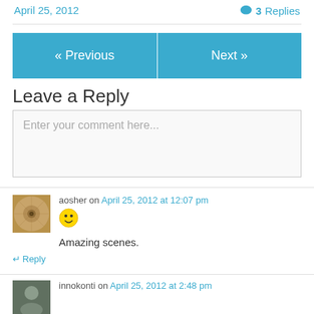April 25, 2012
3 Replies
« Previous | Next »
Leave a Reply
Enter your comment here...
[Figure (photo): Avatar image for user aosher — circular mosaic/mandala pattern in brown/tan tones]
aosher on April 25, 2012 at 12:07 pm
[Figure (illustration): Smiley face emoji icon]
Amazing scenes.
↵ Reply
[Figure (photo): Avatar image for user innokonti]
innokonti on April 25, 2012 at 2:48 pm